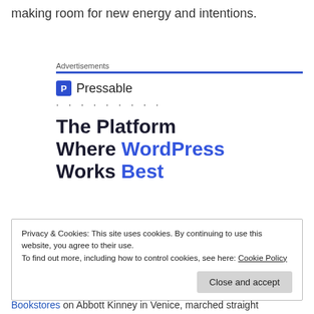making room for new energy and intentions.
Advertisements
[Figure (logo): Pressable logo with blue P icon and text 'Pressable', followed by dotted line]
The Platform Where WordPress Works Best
Privacy & Cookies: This site uses cookies. By continuing to use this website, you agree to their use.
To find out more, including how to control cookies, see here: Cookie Policy
Close and accept
Bookstores on Abbott Kinney in Venice, marched straight